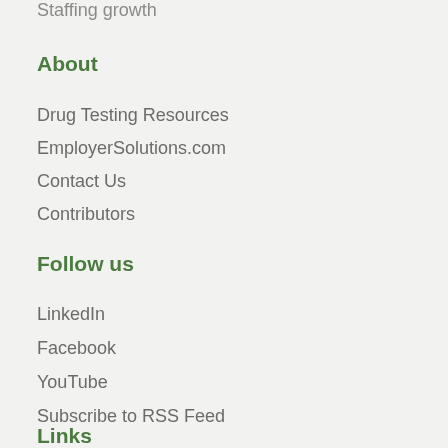Staffing growth
About
Drug Testing Resources
EmployerSolutions.com
Contact Us
Contributors
Follow us
LinkedIn
Facebook
YouTube
Subscribe to RSS Feed
Links